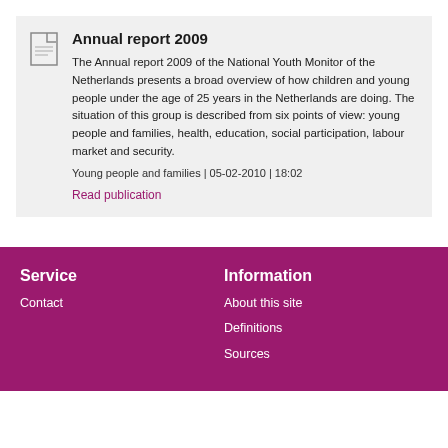Annual report 2009
The Annual report 2009 of the National Youth Monitor of the Netherlands presents a broad overview of how children and young people under the age of 25 years in the Netherlands are doing. The situation of this group is described from six points of view: young people and families, health, education, social participation, labour market and security.
Young people and families | 05-02-2010 | 18:02
Read publication
Service
Contact
Information
About this site
Definitions
Sources